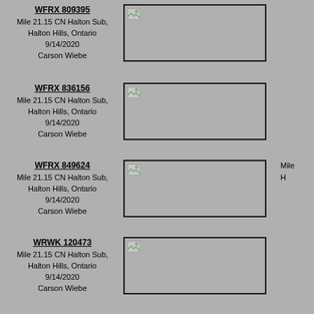WFRX 809395
Mile 21.15 CN Halton Sub, Halton Hills, Ontario
9/14/2020
Carson Wiebe
[Figure (photo): Broken/missing image placeholder for WFRX 809395]
WFRX 836156
Mile 21.15 CN Halton Sub, Halton Hills, Ontario
9/14/2020
Carson Wiebe
[Figure (photo): Broken/missing image placeholder for WFRX 836156]
WFRX 849624
Mile 21.15 CN Halton Sub, Halton Hills, Ontario
9/14/2020
Carson Wiebe
[Figure (photo): Broken/missing image placeholder for WFRX 849624]
WRWK 120473
Mile 21.15 CN Halton Sub, Halton Hills, Ontario
9/14/2020
Carson Wiebe
[Figure (photo): Broken/missing image placeholder for WRWK 120473]
Mile
H